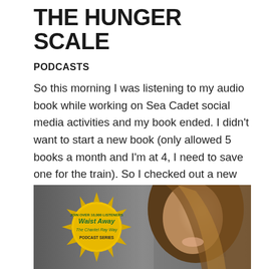THE HUNGER SCALE
PODCASTS
So this morning I was listening to my audio book while working on Sea Cadet social media activities and my book ended. I didn't want to start a new book (only allowed 5 books a month and I'm at 4, I need to save one for the train). So I checked out a new podcast, Waist Away, The Chantel Ray Way and heard some pretty neat stuff.
[Figure (photo): Podcast promotional image for Waist Away, The Chantel Ray Way podcast series. Features a smiling woman with long hair and a gold badge/seal that reads 'JOIN OVER 10,000 LISTENERS' with the text 'Waist Away The Chantel Ray Way PODCAST SERIES' in stylized lettering.]